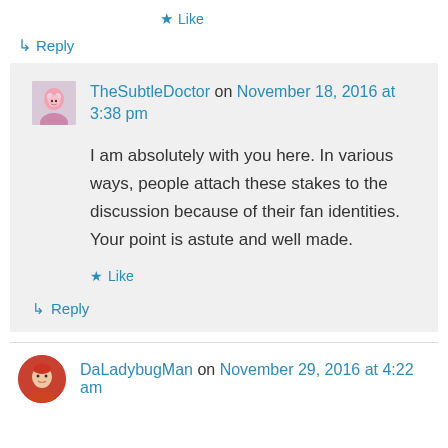★ Like
↳ Reply
TheSubtleDoctor on November 18, 2016 at 3:38 pm
I am absolutely with you here. In various ways, people attach these stakes to the discussion because of their fan identities. Your point is astute and well made.
★ Like
↳ Reply
DaLadybugMan on November 29, 2016 at 4:22 am